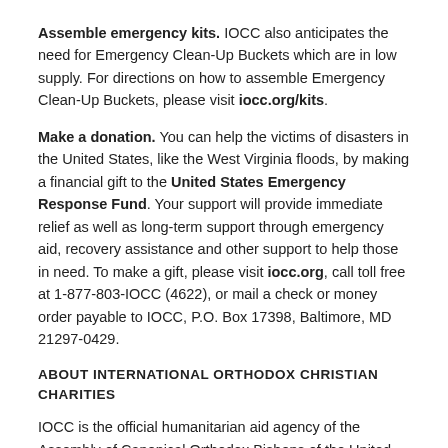Assemble emergency kits. IOCC also anticipates the need for Emergency Clean-Up Buckets which are in low supply. For directions on how to assemble Emergency Clean-Up Buckets, please visit iocc.org/kits.
Make a donation. You can help the victims of disasters in the United States, like the West Virginia floods, by making a financial gift to the United States Emergency Response Fund. Your support will provide immediate relief as well as long-term support through emergency aid, recovery assistance and other support to help those in need. To make a gift, please visit iocc.org, call toll free at 1-877-803-IOCC (4622), or mail a check or money order payable to IOCC, P.O. Box 17398, Baltimore, MD 21297-0429.
ABOUT INTERNATIONAL ORTHODOX CHRISTIAN CHARITIES
IOCC is the official humanitarian aid agency of the Assembly of Canonical Orthodox Bishops of the United States of America. Since its inception in 1992, IOCC has delivered $580 million in relief and development programs to families and communities in more than 50 countries. IOCC is a member of the ACT Alliance, a global coalition of churches and agencies engaged in development, humanitarian assistance and advocacy. To learn more about IOCC, please visit our